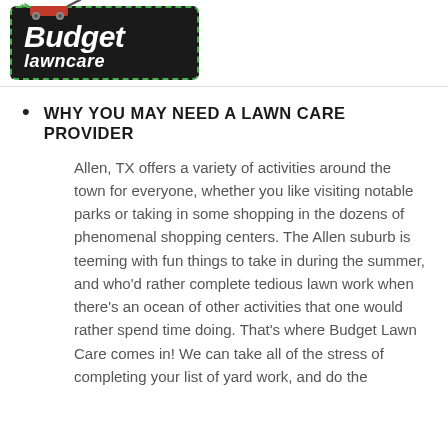[Figure (logo): Budget Lawncare logo — black rounded rectangle with green dashed border, white italic text reading 'Budget' and 'lawncare', red lawn mower graphic on top]
WHY YOU MAY NEED A LAWN CARE PROVIDER
Allen, TX offers a variety of activities around the town for everyone, whether you like visiting notable parks or taking in some shopping in the dozens of phenomenal shopping centers. The Allen suburb is teeming with fun things to take in during the summer, and who'd rather complete tedious lawn work when there's an ocean of other activities that one would rather spend time doing. That's where Budget Lawn Care comes in! We can take all of the stress of completing your list of yard work, and do the